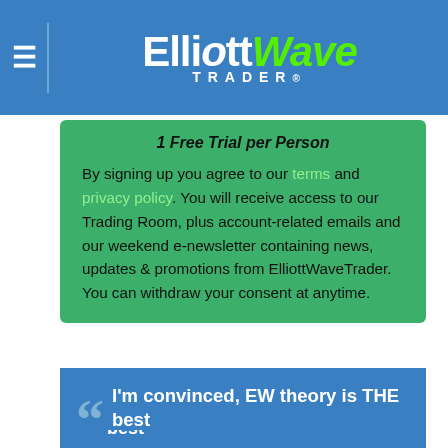ElliottWave TRADER
1 Free Trial per Person
By signing up you agree to our terms and privacy policy. You will receive access to our Trading Room, plus account-related emails and our weekend e-newsletter containing news, updates & promotions from ElliottWaveTrader. You can withdraw your consent at anytime.
OUR MEMBERS SAY ...
I'm convinced, EW theory is THE best